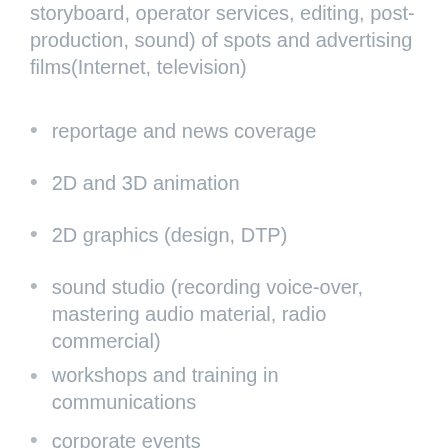storyboard, operator services, editing, post-production, sound) of spots and advertising films(Internet, television)
reportage and news coverage
2D and 3D animation
2D graphics (design, DTP)
sound studio (recording voice-over, mastering audio material, radio commercial)
workshops and training in communications
corporate events
More ►
[Figure (bar-chart): Bar chart with orange bars, partially visible at bottom of page]